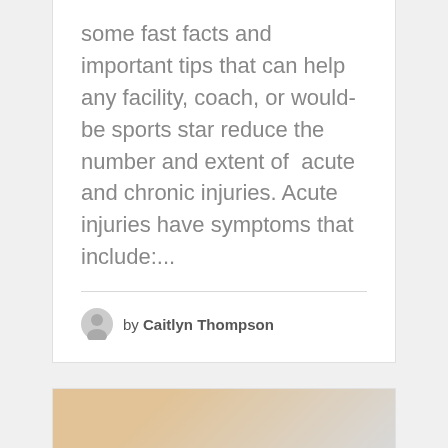some fast facts and important tips that can help any facility, coach, or would-be sports star reduce the number and extent of  acute and chronic injuries. Acute injuries have symptoms that include:...
by Caitlyn Thompson
[Figure (photo): Partial bottom card with a food/nutrition photo, tan and grey tones, cropped at bottom of page]